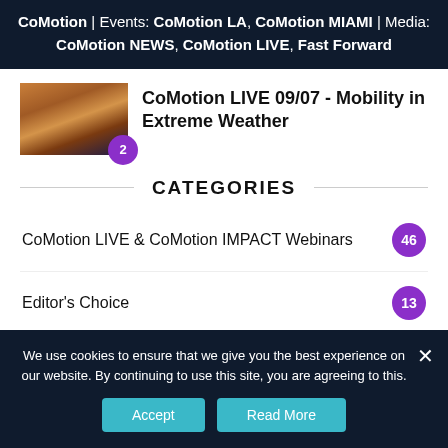CoMotion | Events: CoMotion LA, CoMotion MIAMI | Media: CoMotion NEWS, CoMotion LIVE, Fast Forward
CoMotion LIVE 09/07 - Mobility in Extreme Weather
CATEGORIES
CoMotion LIVE & CoMotion IMPACT Webinars 46
Editor's Choice 13
We use cookies to ensure that we give you the best experience on our website. By continuing to use this site, you are agreeing to this.